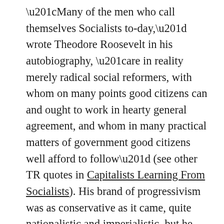“Many of the men who call themselves Socialists to-day,” wrote Theodore Roosevelt in his autobiography, “are in reality merely radical social reformers, with whom on many points good citizens can and ought to work in hearty general agreement, and whom in many practical matters of government good citizens well afford to follow” (see other TR quotes in Capitalists Learning From Socialists). His brand of progressivism was as conservative as it came, quite nationalistic and imperialistic, but he drew inspiration from the political left. To put this in